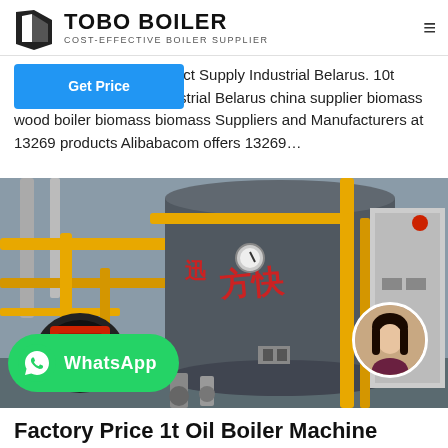TOBO BOILER — COST-EFFECTIVE BOILER SUPPLIER
t Factory Direct Supply Industrial Belarus. 10t Boiler Direct Supply Industrial Belarus china supplier biomass wood boiler biomass biomass Suppliers and Manufacturers at 13269 products Alibabacom offers 13269…
[Figure (photo): Industrial boiler machinery in a factory setting with yellow pipes and Chinese text on the boiler drum]
WhatsApp
Factory Price 1t Oil Boiler Machine Belarus